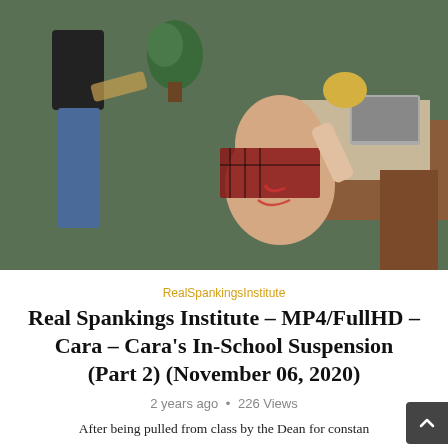[Figure (photo): A scene in an office setting showing people, with a watermark reading 'RealSpankingsInstitute.com' in the top left corner.]
RealSpankingsInstitute
Real Spankings Institute – MP4/FullHD – Cara – Cara's In-School Suspension (Part 2) (November 06, 2020)
2 years ago • 226 Views
After being pulled from class by the Dean for constan